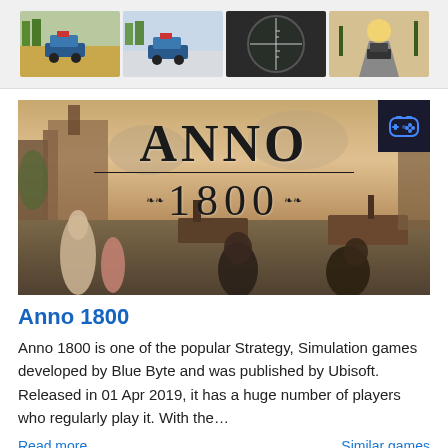[Figure (screenshot): Four small game screenshot thumbnails from a PUBG-style game showing vehicles, sniper scope view, and driving scenes]
[Figure (screenshot): Anno 1800 game banner image showing the game title text 'ANNO 1800' over a painted scene of a 19th century harbor with people in period clothing, ships, and industrial background. A game controller icon badge is in the top right corner.]
Anno 1800
Anno 1800 is one of the popular Strategy, Simulation games developed by Blue Byte and was published by Ubisoft. Released in 01 Apr 2019, it has a huge number of players who regularly play it. With the…
Read more...
Similar games